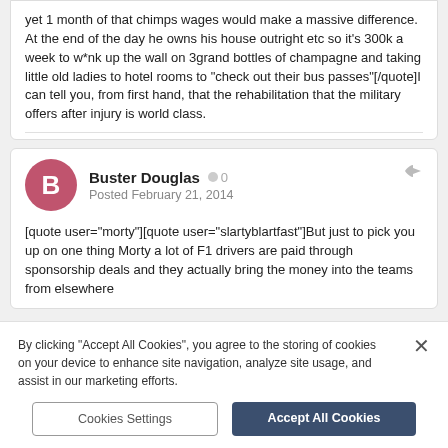yet 1 month of that chimps wages would make a massive difference. At the end of the day he owns his house outright etc so it's 300k a week to w*nk up the wall on 3grand bottles of champagne and taking little old ladies to hotel rooms to "check out their bus passes"[/quote]I can tell you, from first hand, that the rehabilitation that the military offers after injury is world class.
Buster Douglas  0
Posted February 21, 2014
[quote user="morty"][quote user="slartyblartfast"]But just to pick you up on one thing Morty a lot of F1 drivers are paid through sponsorship deals and they actually bring the money into the teams from elsewhere
By clicking "Accept All Cookies", you agree to the storing of cookies on your device to enhance site navigation, analyze site usage, and assist in our marketing efforts.
Cookies Settings
Accept All Cookies